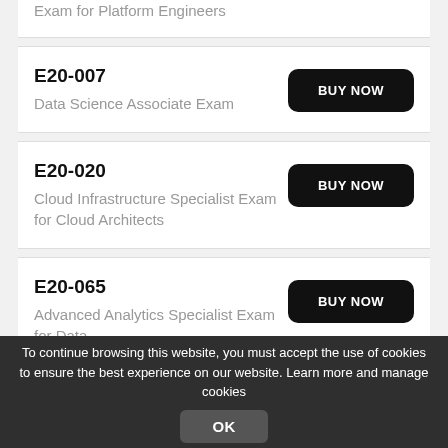Exam for Platform Engineers
E20-007
Data Science Associate Exam
BUY NOW
E20-020
Cloud Infrastructure Specialist Exam for Cloud Architects
BUY NOW
E20-065
Advanced Analytics Specialist Exam for Data
BUY NOW
To continue browsing this website, you must accept the use of cookies to ensure the best experience on our website. Learn more and manage cookies
OK